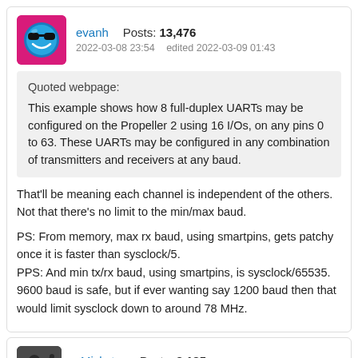evanh  Posts: 13,476  2022-03-08 23:54  edited 2022-03-09 01:43
Quoted webpage:
This example shows how 8 full-duplex UARTs may be configured on the Propeller 2 using 16 I/Os, on any pins 0 to 63. These UARTs may be configured in any combination of transmitters and receivers at any baud.
That'll be meaning each channel is independent of the others. Not that there's no limit to the min/max baud.
PS: From memory, max rx baud, using smartpins, gets patchy once it is faster than sysclock/5.
PPS: And min tx/rx baud, using smartpins, is sysclock/65535. 9600 baud is safe, but if ever wanting say 1200 baud then that would limit sysclock down to around 78 MHz.
Mickster  Posts: 2,185  2022-03-09 18:54